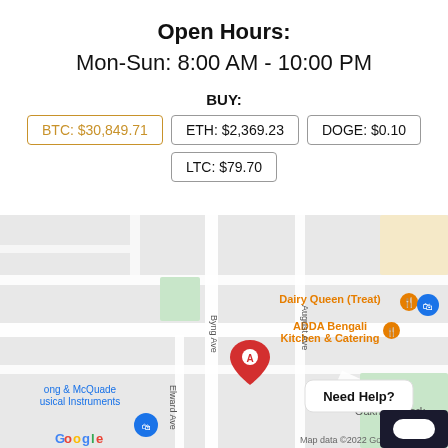Open Hours:
Mon-Sun: 8:00 AM - 10:00 PM
BUY:
BTC: $30,849.71
ETH: $2,369.23
DOGE: $0.10
LTC: $79.70
[Figure (map): Google Maps screenshot showing a location marker (A) near Byng Ave, with nearby landmarks: Dairy Queen (Treat), ADDA Bengali Kitchen & Catering, long & McQuade Musical Instruments, Oakridge Park, Coventry St. Map data ©2022 Google.]